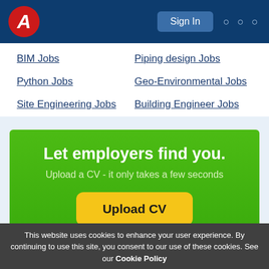A | Sign In | ...
BIM Jobs
Piping design Jobs
Python Jobs
Geo-Environmental Jobs
Site Engineering Jobs
Building Engineer Jobs
Let employers find you.
Upload a CV - it only takes a few seconds
Upload CV
This website uses cookies to enhance your user experience. By continuing to use this site, you consent to our use of these cookies. See our Cookie Policy